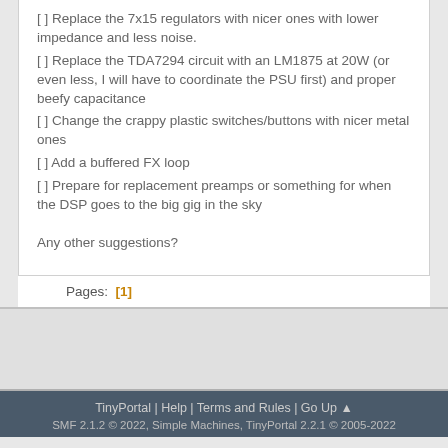[ ] Replace the 7x15 regulators with nicer ones with lower impedance and less noise.
[ ] Replace the TDA7294 circuit with an LM1875 at 20W (or even less, I will have to coordinate the PSU first) and proper beefy capacitance
[ ] Change the crappy plastic switches/buttons with nicer metal ones
[ ] Add a buffered FX loop
[ ] Prepare for replacement preamps or something for when the DSP goes to the big gig in the sky
Any other suggestions?
Pages:  [1]
TinyPortal | Help | Terms and Rules | Go Up ▲
SMF 2.1.2 © 2022, Simple Machines, TinyPortal 2.2.1 © 2005-2022